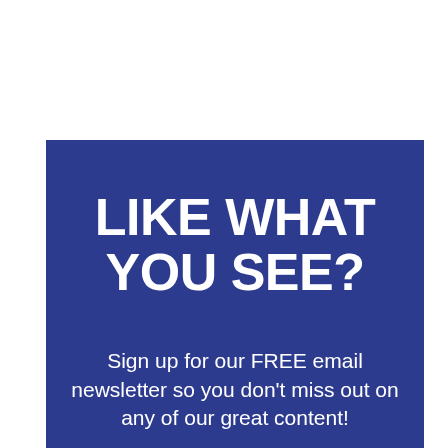LIKE WHAT YOU SEE?
Sign up for our FREE email newsletter so you don't miss out on any of our great content!